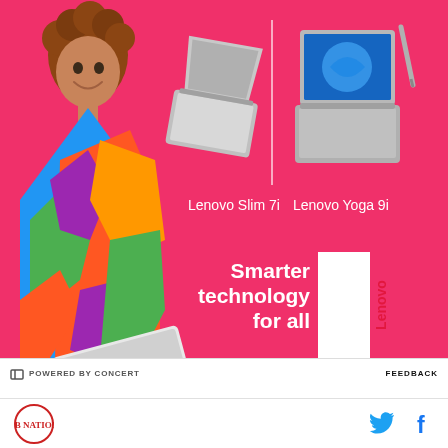[Figure (photo): Lenovo advertisement on pink/magenta background. A woman with curly hair in colorful clothing holds a white Lenovo laptop. Two laptops shown: Lenovo Slim 7i (left) and Lenovo Yoga 9i (right). Tagline reads 'Smarter technology for all' with Lenovo vertical logo badge on right.]
POWERED BY CONCERT    FEEDBACK
But you can probably bet your life that isn't going to happen. Tennessee's defense isn't good, but it's